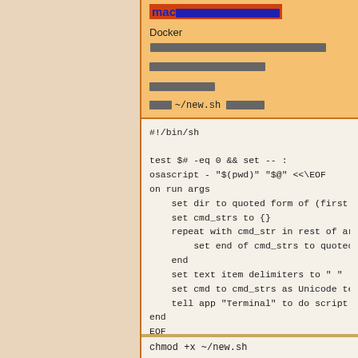mac[CJK characters]
Docker[CJK characters]
[CJK characters]
[CJK characters]
[CJK] ~/new.sh [CJK]
#!/bin/sh

test $# -eq 0 && set -- :
osascript - "$(pwd)" "$@" <<\EOF
on run args
   set dir to quoted form of (first item
   set cmd_strs to {}
   repeat with cmd_str in rest of args
      set end of cmd_strs to quoted form
   end
   set text item delimiters to " "
   set cmd to cmd_strs as Unicode text
   tell app "Terminal" to do script "cd
end
EOF
chmod +x ~/new.sh